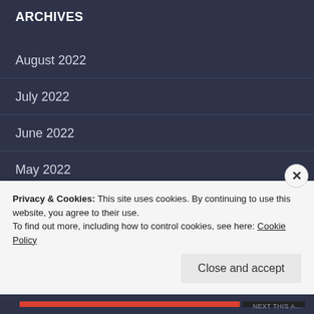ARCHIVES
August 2022
July 2022
June 2022
May 2022
April 2022
March 2022
February 2022
January 2022
Privacy & Cookies: This site uses cookies. By continuing to use this website, you agree to their use.
To find out more, including how to control cookies, see here: Cookie Policy
Close and accept